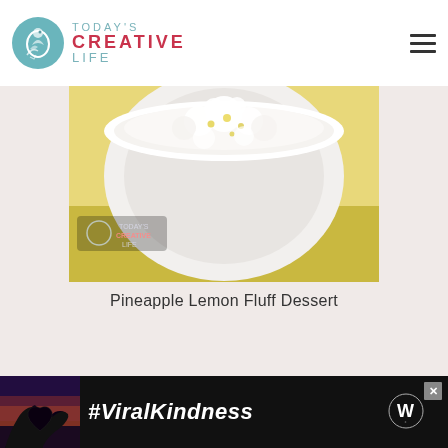[Figure (logo): Today's Creative Life logo with teal bird circle icon and text]
[Figure (photo): Close-up photo of pineapple lemon fluff dessert in a white bowl with yellow lemon garnish, with Today's Creative Life watermark]
Pineapple Lemon Fluff Dessert
[Figure (photo): Advertisement banner with dark background showing hands forming a heart shape and text #ViralKindness with a W logo]